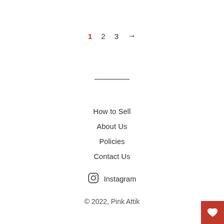1  2  3  →
How to Sell
About Us
Policies
Contact Us
Instagram
© 2022, Pink Attik